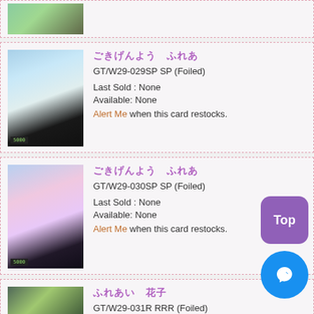[Figure (photo): Partial card row at top showing a trading card with anime character, green background]
[Figure (photo): Weiss Schwarz trading card GT/W29-029SP SP Foiled, anime girl in black and white dress with signature]
ごきげんよう ふれあ
GT/W29-029SP SP (Foiled)
Last Sold : None
Available: None
Alert Me when this card restocks.
[Figure (photo): Weiss Schwarz trading card GT/W29-030SP SP Foiled, anime girl with pink hair and signature]
ごきげんよう ふれあ
GT/W29-030SP SP (Foiled)
Last Sold : None
Available: None
Alert Me when this card restocks.
[Figure (photo): Partial card row at bottom showing a trading card with dark green anime background]
ふれあい 花子
GT/W29-031R RRR (Foiled)